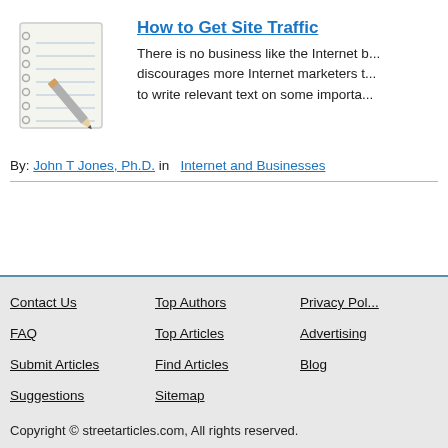[Figure (illustration): Notepad with pencil illustration]
How to Get Site Traffic
There is no business like the Internet b... discourages more Internet marketers t... to write relevant text on some importa...
By: John T Jones, Ph.D. in  Internet and Businesses
Contact Us  Top Authors  Privacy Pol...
FAQ  Top Articles  Advertising
Submit Articles  Find Articles  Blog
Suggestions  Sitemap
Copyright © streetarticles.com, All rights reserved.